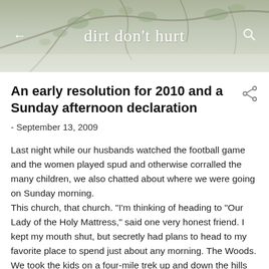[Figure (photo): Blog header image with tree branches/leaves against a light sky, with blog title 'dirt don't hurt' in script font, a back arrow on the left, and a search icon on the right.]
An early resolution for 2010 and a Sunday afternoon declaration
- September 13, 2009
Last night while our husbands watched the football game and the women played spud and otherwise corralled the many children, we also chatted about where we were going on Sunday morning.
This church, that church. "I'm thinking of heading to "Our Lady of the Holy Mattress," said one very honest friend. I kept my mouth shut, but secretly had plans to head to my favorite place to spend just about any morning. The Woods.
We took the kids on a four-mile trek up and down the hills and valleys of Wooster. If you think that Wooster doesn't have hills, you've never been to Wooster Memorial Park. You should go